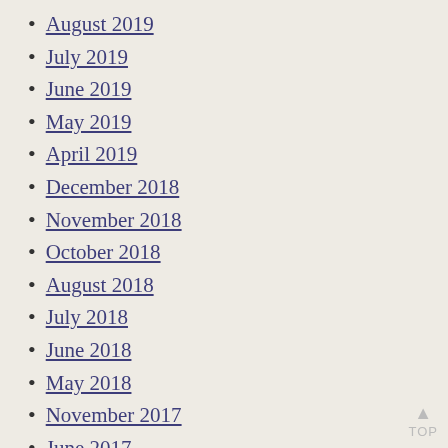August 2019
July 2019
June 2019
May 2019
April 2019
December 2018
November 2018
October 2018
August 2018
July 2018
June 2018
May 2018
November 2017
June 2017